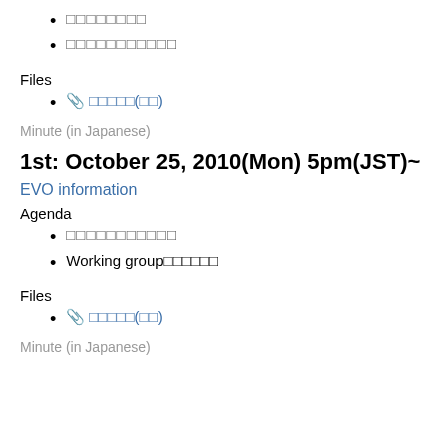□□□□□□□□
□□□□□□□□□□□
Files
📎 □□□□□(□□)
Minute (in Japanese)
1st: October 25, 2010(Mon) 5pm(JST)~
EVO information
Agenda
□□□□□□□□□□□
Working group□□□□□□
Files
📎 □□□□□(□□)
Minute (in Japanese)